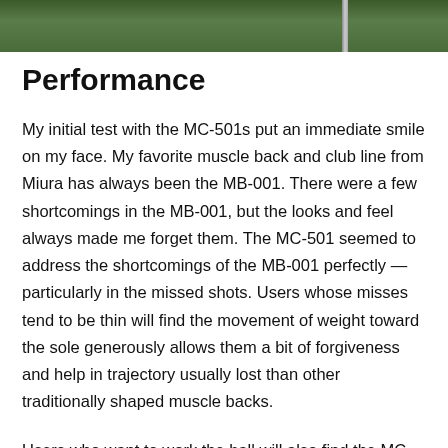[Figure (photo): Partial photo strip at top of page showing a green background (grass/foliage) with what appears to be a golf club shaft visible on the right side.]
Performance
My initial test with the MC-501s put an immediate smile on my face. My favorite muscle back and club line from Miura has always been the MB-001. There were a few shortcomings in the MB-001, but the looks and feel always made me forget them. The MC-501 seemed to address the shortcomings of the MB-001 perfectly — particularly in the missed shots. Users whose misses tend to be thin will find the movement of weight toward the sole generously allows them a bit of forgiveness and help in trajectory usually lost than other traditionally shaped muscle backs.
Users who want to work the ball will also find the MC-501s play similarly to the MB-001s despite that added